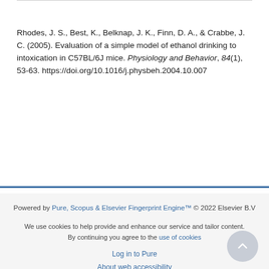Rhodes, J. S., Best, K., Belknap, J. K., Finn, D. A., & Crabbe, J. C. (2005). Evaluation of a simple model of ethanol drinking to intoxication in C57BL/6J mice. Physiology and Behavior, 84(1), 53-63. https://doi.org/10.1016/j.physbeh.2004.10.007
Powered by Pure, Scopus & Elsevier Fingerprint Engine™ © 2022 Elsevier B.V
We use cookies to help provide and enhance our service and tailor content. By continuing you agree to the use of cookies
Log in to Pure
About web accessibility